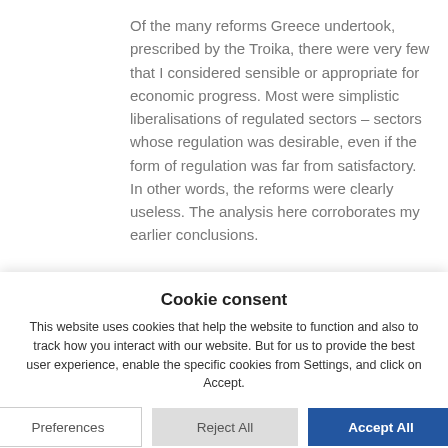Of the many reforms Greece undertook, prescribed by the Troika, there were very few that I considered sensible or appropriate for economic progress. Most were simplistic liberalisations of regulated sectors – sectors whose regulation was desirable, even if the form of regulation was far from satisfactory. In other words, the reforms were clearly useless. The analysis here corroborates my earlier conclusions.
Basically, the neoliberal morons of the Troika got it wrong, and have fucked
Cookie consent
This website uses cookies that help the website to function and also to track how you interact with our website. But for us to provide the best user experience, enable the specific cookies from Settings, and click on Accept.
Preferences | Reject All | Accept All